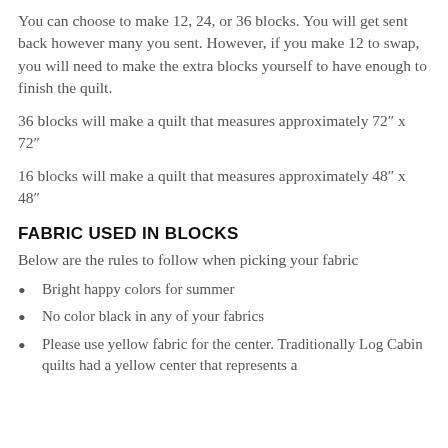You can choose to make 12, 24, or 36 blocks. You will get sent back however many you sent. However, if you make 12 to swap, you will need to make the extra blocks yourself to have enough to finish the quilt.
36 blocks will make a quilt that measures approximately 72" x 72"
16 blocks will make a quilt that measures approximately 48" x 48"
FABRIC USED IN BLOCKS
Below are the rules to follow when picking your fabric
Bright happy colors for summer
No color black in any of your fabrics
Please use yellow fabric for the center. Traditionally Log Cabin quilts had a yellow center that represents a